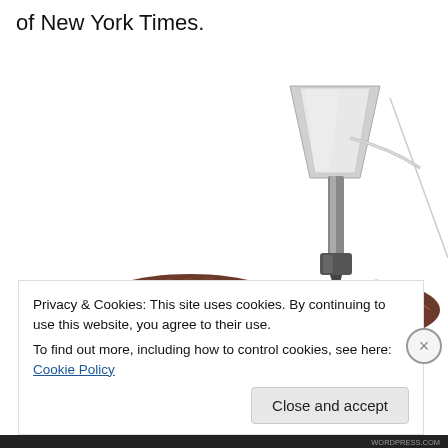of New York Times.
[Figure (photo): A 3D food printer robot arm with a nozzle printing chocolate food items on a white background. Two mounds of printed chocolate are visible below the robot arm.]
Privacy & Cookies: This site uses cookies. By continuing to use this website, you agree to their use.
To find out more, including how to control cookies, see here: Cookie Policy
Close and accept